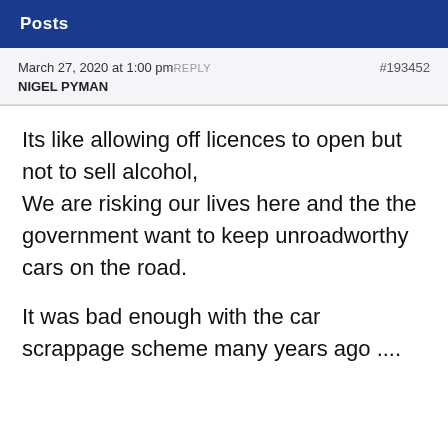Posts
March 27, 2020 at 1:00 pmREPLY
#193452
NIGEL PYMAN
Its like allowing off licences to open but not to sell alcohol,
We are risking our lives here and the the government want to keep unroadworthy cars on the road.

It was bad enough with the car scrappage scheme many years ago ....